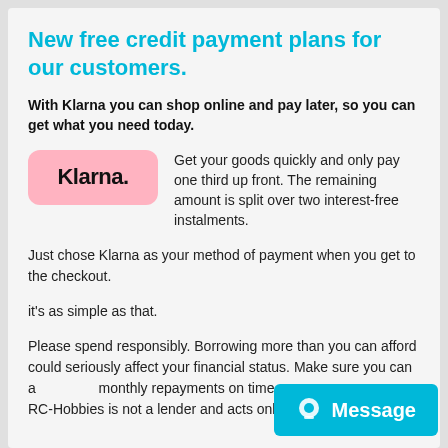New free credit payment plans for our customers.
With Klarna you can shop online and pay later, so you can get what you need today.
[Figure (logo): Klarna logo — pink rounded rectangle with 'Klarna.' text in bold black]
Get your goods quickly and only pay one third up front. The remaining amount is split over two interest-free instalments.
Just chose Klarna as your method of payment when you get to the checkout.
it's as simple as that.
Please spend responsibly. Borrowing more than you can afford could seriously affect your financial status. Make sure you can afford your monthly repayments on time.
RC-Hobbies is not a lender and acts only as an introducer